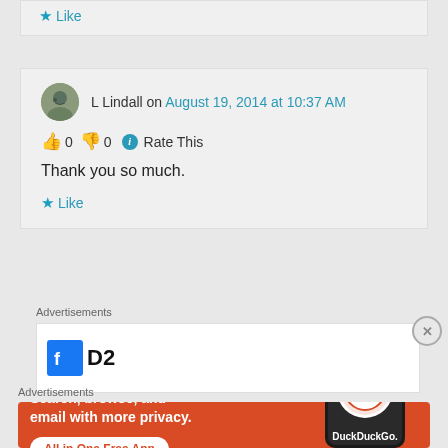★ Like
L Lindall on August 19, 2014 at 10:37 AM
👍 0 👎 0 ℹ Rate This
Thank you so much.
★ Like
Advertisements
[Figure (screenshot): Partial advertisement banner with Facebook-style logo showing 'D2' text]
Advertisements
[Figure (screenshot): DuckDuckGo advertisement: Search, browse, and email with more privacy. All in One Free App. Shows phone with DuckDuckGo logo.]